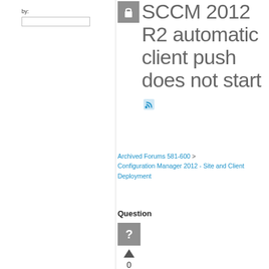by:
SCCM 2012 R2 automatic client push does not start
Archived Forums 581-600 > Configuration Manager 2012 - Site and Client Deployment
Question
0
Sign in